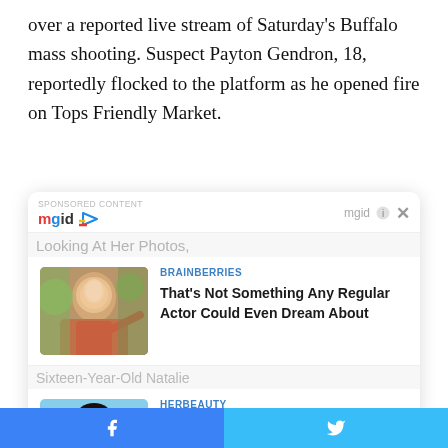over a reported live stream of Saturday's Buffalo mass shooting. Suspect Payton Gendron, 18, reportedly flocked to the platform as he opened fire on Tops Friendly Market.
[Figure (screenshot): Sponsored content widget from mgid showing two article cards: 1) BRAINBERRIES - 'That's Not Something Any Regular Actor Could Even Dream About' with image of young man, 2) HERBEAUTY - '15 Beauty Secrets Only Indian Women Know' with image of Indian woman. Background shows blurred article content. Close button (×) visible. Bottom bar with Facebook and Twitter share buttons.]